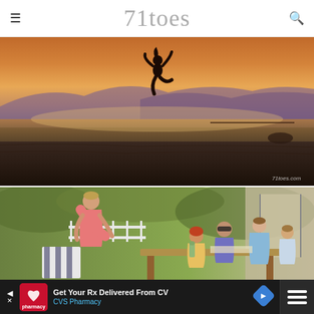71toes
[Figure (photo): Person jumping at a beach during sunset, silhouetted against an orange and purple sky over a lake or ocean. Sandy beach in foreground. Watermark '71toes.com' in lower right.]
[Figure (photo): Group of people gathered around an outdoor table on a deck or patio. A man in a pink shirt leans over the table. Several others are seated. Green shrubs and white fence visible in background.]
Get Your Rx Delivered From CV CVS Pharmacy